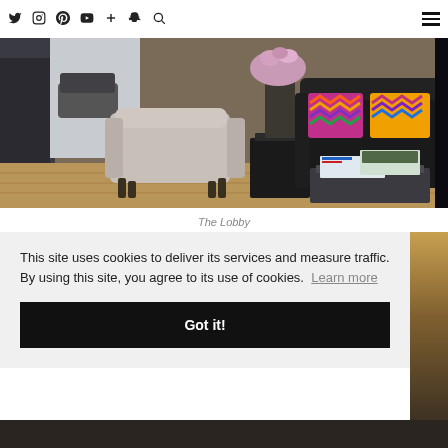Social media icons (Twitter, Instagram, Pinterest, YouTube, Plus, Snapchat, Search) and hamburger menu
[Figure (photo): Interior photo of a hotel lobby showing a grey upholstered chair, dark sofa with colorful chevron pillows, flowers in a vase on a side table, and magazines on a coffee table]
The Lobby
This site uses cookies to deliver its services and measure traffic. By using this site, you agree to its use of cookies. Learn more
Got it!